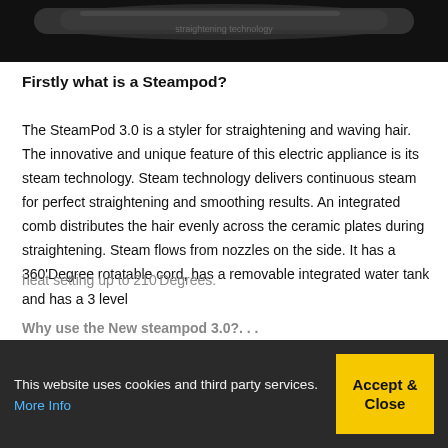[Figure (photo): Dark background image showing a hair styling device (Steampod), mostly cropped, showing the top portion of the appliance against a black background.]
Firstly what is a Steampod?
The SteamPod 3.0 is a styler for straightening and waving hair. The innovative and unique feature of this electric appliance is its steam technology. Steam technology delivers continuous steam for perfect straightening and smoothing results. An integrated comb distributes the hair evenly across the ceramic plates during straightening. Steam flows from nozzles on the side. It has a 360'Degree rotatable cord, has a removable integrated water tank and has a 3 level heat setting up to 210'Degrees.
Why use the New steampod 3.0?...
This website uses cookies and third party services. More Info
Accept & Close